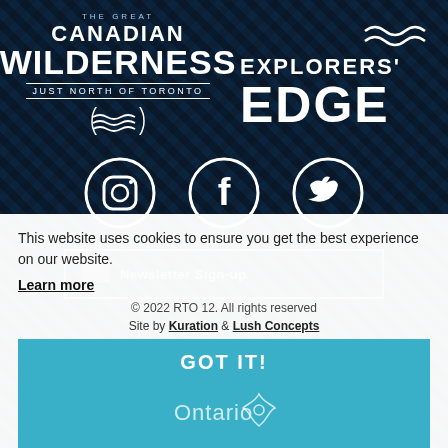[Figure (logo): The Great Canadian Wilderness - Just North of Toronto logo, white text on dark plaid background]
[Figure (logo): Explorers' Edge logo, white text on dark plaid background]
[Figure (illustration): Three social media icons in white circles: Instagram, Facebook, Twitter]
Newsletter Sign-up
This website uses cookies to ensure you get the best experience on our website.
Learn more
© 2022 RTO 12. All rights reserved
Site by Kuration & Lush Concepts
GOT IT!
[Figure (logo): Ontario trillium logo, light blue]